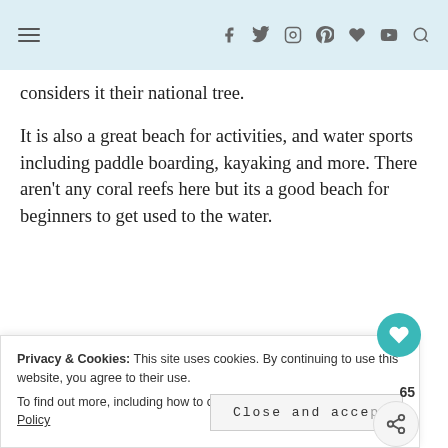navigation header with menu and social icons
considers it their national tree.
It is also a great beach for activities, and water sports including paddle boarding, kayaking and more. There aren’t any coral reefs here but its a good beach for beginners to get used to the water.
[Figure (photo): Beach photo showing cloudy sky and water/sand]
Privacy & Cookies: This site uses cookies. By continuing to use this website, you agree to their use.
To find out more, including how to control cookies, see here: Cookie Policy
Close and accept